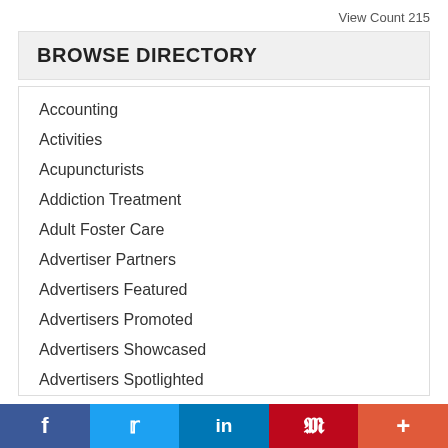View Count 215
BROWSE DIRECTORY
Accounting
Activities
Acupuncturists
Addiction Treatment
Adult Foster Care
Advertiser Partners
Advertisers Featured
Advertisers Promoted
Advertisers Showcased
Advertisers Spotlighted
f  t  in  P  +